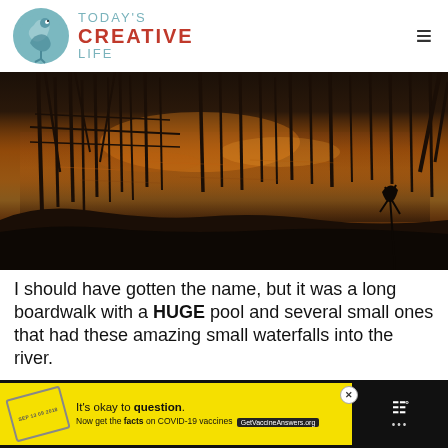TODAY'S CREATIVE LIFE
[Figure (photo): Silhouetted dead trees standing in a marshy wetland reflecting orange-pink sunset sky, dark foreground]
I should have gotten the name, but it was a long boardwalk with a HUGE pool and several small ones that had these amazing small waterfalls into the river.
[Figure (screenshot): Yellow advertisement banner: It's okay to question. Now get the facts on COVID-19 vaccines. GetVaccineAnswers.org]